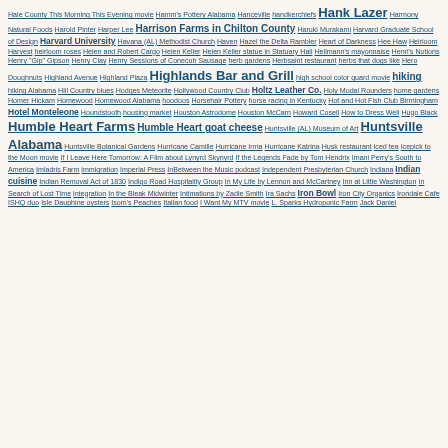Hale County This Morning This Evening movie · Hamm's Pottery Alabama · Hanceville · handkerchiefs · Hank Lazer · Harmony Natural Foods · Harold Pinter · Harper Lee · Harrison Farms in Chilton County · Haruki Murakami · Harvard Graduate School of Design · Harvard University · Havana (AL) Methodist Church · Haven · Hazel the Delta Rambler · Heart of Darkness · Hee Haw · Heirloom Harvest · heirloom roses · Helen and Robert Cargo · Helen Keller · Helen Keller statue in Statuary Hall · Hellmann's mayonnaise · Henri's Notions · Henry "Gip" Gipson · Henry Clay · Henry Sessions of Conecuh Sausage · herb gardens · Herbsaint restaurant · herbs that dogs like · Hero Doughnuts · Highland Avenue · Highland Plaza · Highlands Bar and Grill · high school color guard movie · hiking · hiking Alabama · Hill Country blues · Hodges Meteorite · Hollywood Country Club · Holtz Leather Co. · Holy Modal Rounders · home gardens · Homer Hickam · Homewood · Homewood Alabama · hoodoos · Horsehair Pottery · horse racing in Kentucky · Hot and Hot Fish Club Birmingham · Hotel Monteleone · Houndstooth · housing market · Houston Astrodome · Houston McCarn · Howard Cosell · How to Dress Well · Hugo Black · Humble Heart Farms · Humble Heart goat cheese · Huntsville (AL) Museum of Art · Huntsville Alabama · Huntsville Botanical Gardens · Hurricane Camille · Hurricane Irma · Hurricane Katrina · Husk restaurant · iced tea · Icepick to the Moon movie · If I Leave Here Tomorrow: A Film about Lynyrd Skynyrd · If the Legends Fade by Tom Hendrix · Imani Perry's South to America · Imladris Farm · immigration · Imperial Press · InBetween the Music podcast · Independent Presbyterian Church · Indiana · Indian cuisine · Indian Removal Act of 1830 · Indigo Road Hospitality Group · In My Life by Lennon and McCartney · Inn at Little Washington · In Search of Lost Time · integration · In the Bleak Midwinter · Intimations by Zadie Smith · Ira Sachs · Iron Bowl · Iron City Organics · Irondale Cafe · ISHQ duo · Isle Dauphine oysters · Isom's Peaches · Italian food · I Want My MTV movie · L. Sparks Hydroponic Farm · Jack Daniel